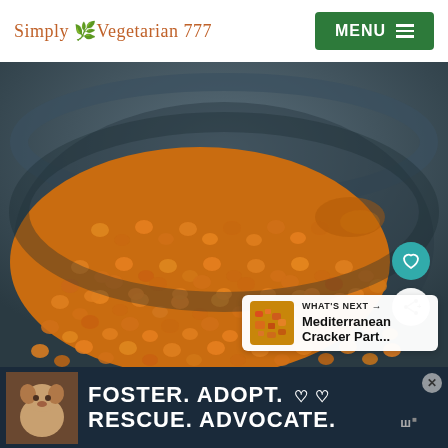Simply Vegetarian 777 | MENU
[Figure (photo): Close-up photo of cooked orange/red lentils in a dark bowl, shown from above. The lentils are glossy and appear freshly cooked. A heart (favorite) button and share button are overlaid on the right side. A 'WHAT'S NEXT' overlay in the bottom right shows a thumbnail and text 'Mediterranean Cracker Part...']
[Figure (photo): Advertisement banner at the bottom: dark navy background with a photo of a dog on the left and bold white text reading 'FOSTER. ADOPT. ♡ ♡' and 'RESCUE. ADVOCATE.' with a close button in the top right corner and a logo on the right.]